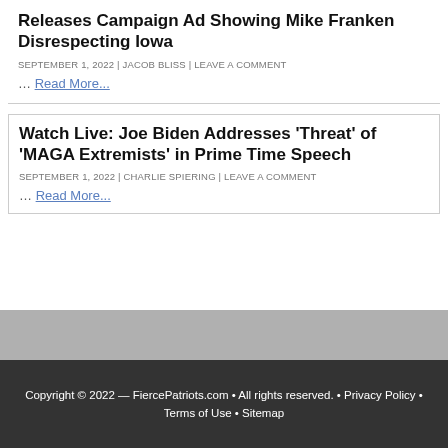Releases Campaign Ad Showing Mike Franken Disrespecting Iowa
SEPTEMBER 1, 2022 | JACOB BLISS | LEAVE A COMMENT
… Read More...
Watch Live: Joe Biden Addresses 'Threat' of 'MAGA Extremists' in Prime Time Speech
SEPTEMBER 1, 2022 | CHARLIE SPIERING | LEAVE A COMMENT
… Read More...
Copyright © 2022 — FiercePatriots.com • All rights reserved. • Privacy Policy • Terms of Use • Sitemap